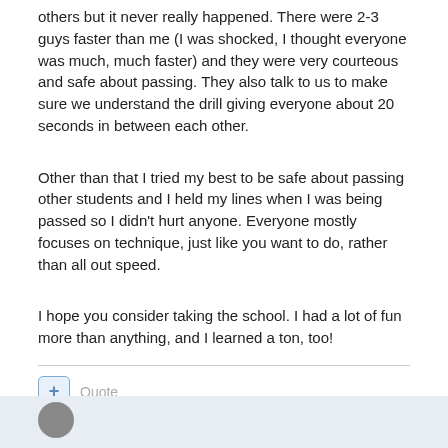others but it never really happened. There were 2-3 guys faster than me (I was shocked, I thought everyone was much, much faster) and they were very courteous and safe about passing. They also talk to us to make sure we understand the drill giving everyone about 20 seconds in between each other.
Other than that I tried my best to be safe about passing other students and I held my lines when I was being passed so I didn't hurt anyone. Everyone mostly focuses on technique, just like you want to do, rather than all out speed.
I hope you consider taking the school. I had a lot of fun more than anything, and I learned a ton, too!